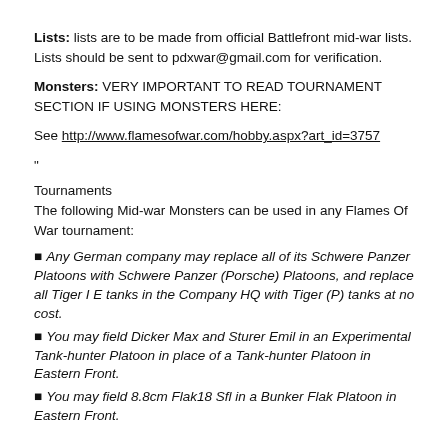Lists: lists are to be made from official Battlefront mid-war lists. Lists should be sent to pdxwar@gmail.com for verification.
Monsters: VERY IMPORTANT TO READ TOURNAMENT SECTION IF USING MONSTERS HERE:
See http://www.flamesofwar.com/hobby.aspx?art_id=3757
"
Tournaments
The following Mid-war Monsters can be used in any Flames Of War tournament:
Any German company may replace all of its Schwere Panzer Platoons with Schwere Panzer (Porsche) Platoons, and replace all Tiger I E tanks in the Company HQ with Tiger (P) tanks at no cost.
You may field Dicker Max and Sturer Emil in an Experimental Tank-hunter Platoon in place of a Tank-hunter Platoon in Eastern Front.
You may field 8.8cm Flak18 Sfl in a Bunker Flak Platoon in Eastern Front.